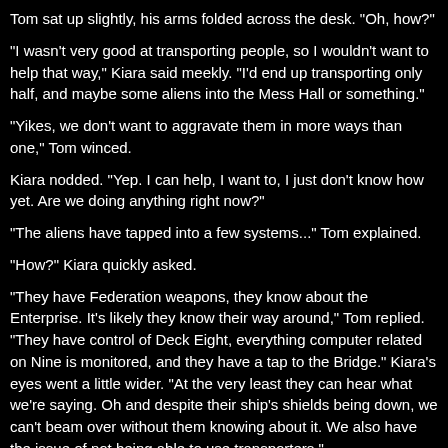Tom sat up slightly, his arms folded across the desk. "Oh, how?"
"I wasn't very good at transporting people, so I wouldn't want to help that way," Kiara said meekly. "I'd end up transporting only half, and maybe some aliens into the Mess Hall or something."
"Yikes, we don't want to aggravate them in more ways than one," Tom winced.
Kiara nodded. "Yep. I can help, I want to, I just don't know how yet. Are we doing anything right now?"
"The aliens have tapped into a few systems..." Tom explained.
"How?" Kiara quickly asked.
"They have Federation weapons, they know about the Enterprise. It's likely they know their way around," Tom replied. "They have control of Deck Eight, everything computer related on Nine is monitored, and they have a tap to the Bridge." Kiara's eyes went a little wider. "At the very least they can hear what we're saying. Oh and despite their ship's shields being down, we can't beam over without them knowing about it. We also have the issue of not being able to use transporters."
Kiara smiled, "you don't have to use yours."
"I'm confused," Tom said mid frown. "I thought you didn't want to?"
"I don't, not on the kids or aliens. If it takes me a few tries if it's just me,